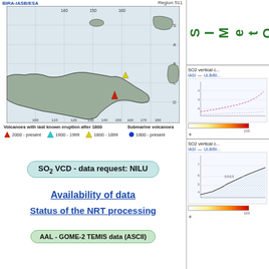[Figure (map): Map of Pacific region (Region 511) showing volcanoes with last known eruption after 1800 and submarine volcanoes. Legend: red triangle = 2000-present, cyan triangle = 1900-1999, yellow triangle = 1800-1899, blue circle = 1800-present (submarine). Header text: BIRA-IASB/ESA left, Region 511 right. Latitude/longitude grid visible. Land masses shown in gray.]
Volcanoes with last known eruption after 1800 | 2000 - present [red triangle] | 1900 - 1999 [cyan triangle] | 1800 - 1899 [yellow triangle] | Submarine volcanoes | 1800 - present [blue circle]
SO2 VCD - data request: NILU
Availability of data
Status of the NRT processing
AAL - GOME-2 TEMIS data (ASCII)
[Figure (continuous-plot): SO2 vertical column density plot top right panel, IASI ULB/BI legend, with line chart and colorbar showing values 0 to 100]
[Figure (continuous-plot): SO2 vertical column density second plot right panel, IASI ULB/BI legend, with striped area chart and colorbar showing values 0 to 100]